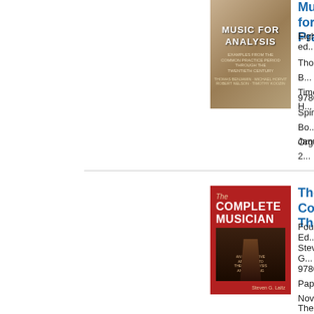[Figure (photo): Book cover of 'Music for Analysis' showing musical instruments on a wooden background]
Music for Analysis (partial, cut off)
Eighth edition (partial)
Thomas B... / Timothy H... (partial author names)
9780190... Spiral Bound January 2... (partial)
Organized (partial)
[Figure (photo): Book cover of 'The Complete Musician' with red background and author Steven G. Laitz]
The Complete Musician: An Integrated Approach to Theory, Analysis, and Listening (partial, cut off)
Fourth Edition (partial)
Steven G... (partial author name)
9780199... Paperback November... (partial)
The most... music ma... (partial)